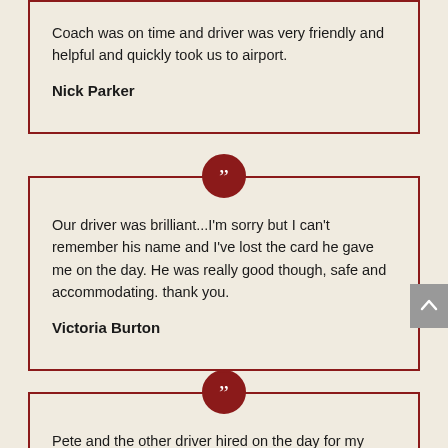Coach was on time and driver was very friendly and helpful and quickly took us to airport.
Nick Parker
[Figure (illustration): Red circle with white quotation marks icon]
Our driver was brilliant...I'm sorry but I can't remember his name and I've lost the card he gave me on the day. He was really good though, safe and accommodating. thank you.
Victoria Burton
[Figure (illustration): Red circle with white quotation marks icon]
Pete and the other driver hired on the day for my